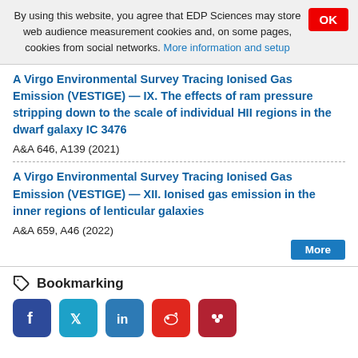By using this website, you agree that EDP Sciences may store web audience measurement cookies and, on some pages, cookies from social networks. More information and setup
A Virgo Environmental Survey Tracing Ionised Gas Emission (VESTIGE) — IX. The effects of ram pressure stripping down to the scale of individual HII regions in the dwarf galaxy IC 3476
A&A 646, A139 (2021)
A Virgo Environmental Survey Tracing Ionised Gas Emission (VESTIGE) — XII. Ionised gas emission in the inner regions of lenticular galaxies
A&A 659, A46 (2022)
Bookmarking
[Figure (other): Social media sharing buttons: Facebook, Twitter, LinkedIn, Weibo, Mendeley]